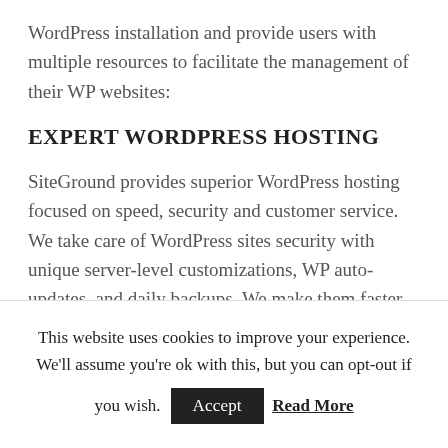WordPress installation and provide users with multiple resources to facilitate the management of their WP websites:
EXPERT WORDPRESS HOSTING
SiteGround provides superior WordPress hosting focused on speed, security and customer service. We take care of WordPress sites security with unique server-level customizations, WP auto-updates, and daily backups. We make them faster by regularly upgrading our hardware, offering free CDN
This website uses cookies to improve your experience. We'll assume you're ok with this, but you can opt-out if you wish. Accept Read More